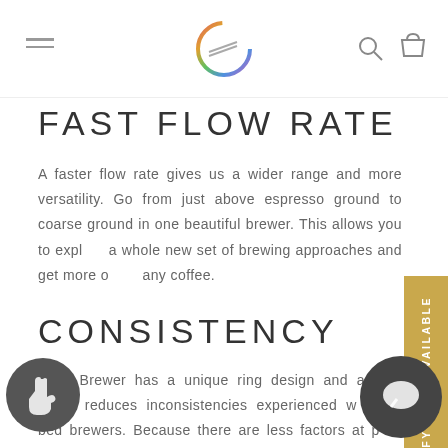Navigation header with hamburger menu, logo, search and cart icons
FAST FLOW RATE
A faster flow rate gives us a wider range and more versatility. Go from just above espresso ground to coarse ground in one beautiful brewer. This allows you to explore a whole new set of brewing approaches and get more out of any coffee.
CONSISTENCY
Orea Brewer has a unique ring design and a total which reduces inconsistencies experienced w flat bed brewers. Because there are less factors at you will inherently have more consistent brews. Due to the fact